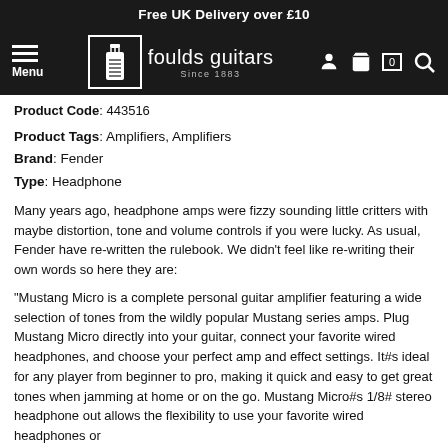Free UK Delivery over £10
[Figure (screenshot): Foulds Guitars navigation bar with hamburger menu, logo, and icons for account, cart (0), and search]
Product Code: 443516
Product Tags: Amplifiers, Amplifiers
Brand: Fender
Type: Headphone
Many years ago, headphone amps were fizzy sounding little critters with maybe distortion, tone and volume controls if you were lucky. As usual, Fender have re-written the rulebook. We didn't feel like re-writing their own words so here they are:
"Mustang Micro is a complete personal guitar amplifier featuring a wide selection of tones from the wildly popular Mustang series amps. Plug Mustang Micro directly into your guitar, connect your favorite wired headphones, and choose your perfect amp and effect settings. It#s ideal for any player from beginner to pro, making it quick and easy to get great tones when jamming at home or on the go. Mustang Micro#s 1/8# stereo headphone out allows the flexibility to use your favorite wired headphones or